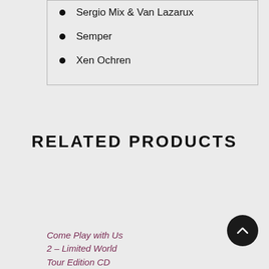Sergio Mix & Van Lazarux
Semper
Xen Ochren
RELATED PRODUCTS
Come Play with Us 2 – Limited World Tour Edition CD